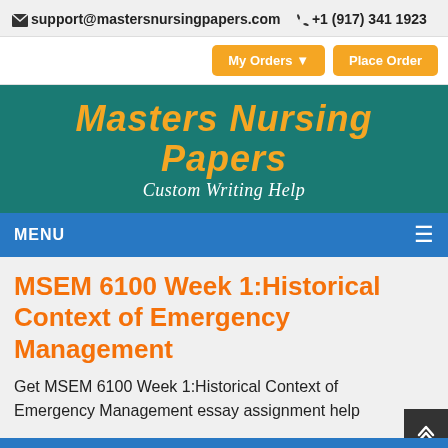✉ support@mastersnursingpapers.com  ✆ +1 (917) 341 1923
[Figure (logo): Masters Nursing Papers logo with orange italic text on teal background and subtitle 'Custom Writing Help']
MSEM 6100 Week 1:Historical Context of Emergency Management
Get MSEM 6100 Week 1:Historical Context of Emergency Management essay assignment help